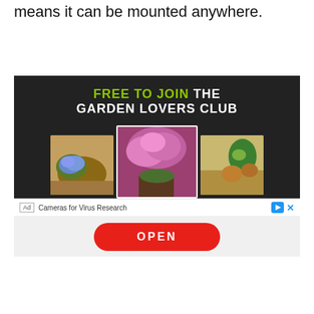means it can be mounted anywhere.
[Figure (illustration): Advertisement banner for Garden Lovers Club showing text 'FREE TO JOIN THE GARDEN LOVERS CLUB' on dark background with three overlapping photos of flowering garden plants (blue hydrangeas, pink climbing roses, and terracotta pots with plants). Below the ad: label 'Ad', text 'Cameras for Virus Research', play/close icons, and a red OPEN button.]